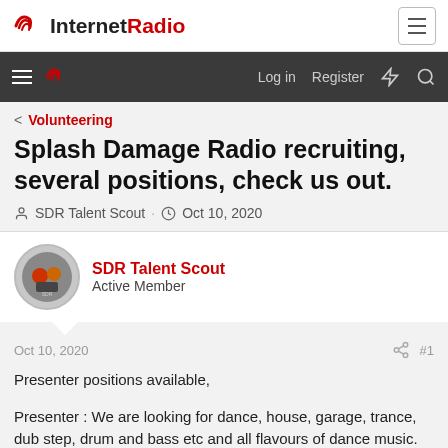InternetRadio
Log in  Register
< Volunteering
Splash Damage Radio recruiting, several positions, check us out.
SDR Talent Scout · Oct 10, 2020
SDR Talent Scout
Active Member
Oct 10, 2020
#1
Presenter positions available,
Presenter : We are looking for dance, house, garage, trance, dub step, drum and bass etc and all flavours of dance music. Also indie type music and unsigned band showcase style programs would be of interest.